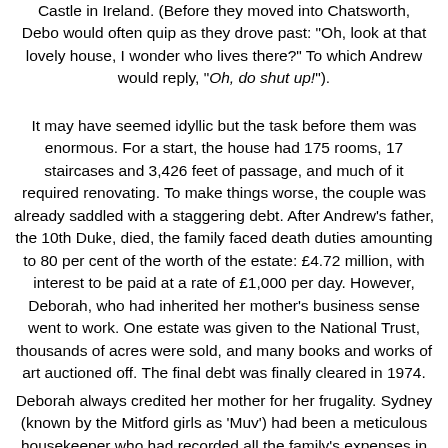Castle in Ireland. (Before they moved into Chatsworth, Debo would often quip as they drove past: "Oh, look at that lovely house, I wonder who lives there?" To which Andrew would reply, "Oh, do shut up!").
It may have seemed idyllic but the task before them was enormous. For a start, the house had 175 rooms, 17 staircases and 3,426 feet of passage, and much of it required renovating. To make things worse, the couple was already saddled with a staggering debt. After Andrew's father, the 10th Duke, died, the family faced death duties amounting to 80 per cent of the worth of the estate: £4.72 million, with interest to be paid at a rate of £1,000 per day. However, Deborah, who had inherited her mother's business sense went to work. One estate was given to the National Trust, thousands of acres were sold, and many books and works of art auctioned off. The final debt was finally cleared in 1974.
Deborah always credited her mother for her frugality. Sydney (known by the Mitford girls as 'Muv') had been a meticulous housekeeper who had recorded all the family's expenses in